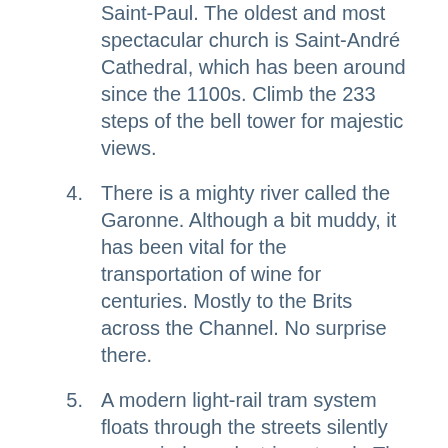Saint-Paul. The oldest and most spectacular church is Saint-André Cathedral, which has been around since the 1100s. Climb the 233 steps of the bell tower for majestic views.
4. There is a mighty river called the Garonne. Although a bit muddy, it has been vital for the transportation of wine for centuries. Mostly to the Brits across the Channel. No surprise there.
5. A modern light-rail tram system floats through the streets silently on a wireless electric network. The trams tie together with an efficient